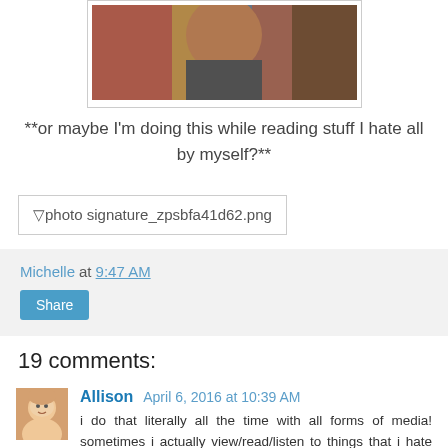[Figure (photo): Partial photo of a person, cropped, showing upper body against a colorful background]
**or maybe I'm doing this while reading stuff I hate all by myself?**
[Figure (photo): Broken image placeholder: photo signature_zpsbfa41d62.png]
Michelle at 9:47 AM
Share
19 comments:
Allison  April 6, 2016 at 10:39 AM
i do that literally all the time with all forms of media! sometimes i actually view/read/listen to things that i hate WAY MORE than things that i love, which probably says...